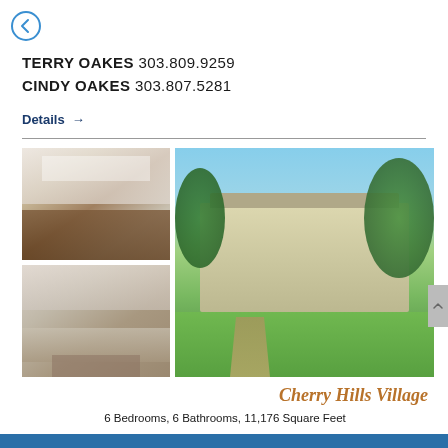Back navigation button
TERRY OAKES 303.809.9259
CINDY OAKES 303.807.5281
Details →
[Figure (photo): Three property photos: kitchen interior with bar stools and pendant lights, living room with fireplace and stone wall, and exterior of a large yellow two-story house with green lawn and garden path]
Cherry Hills Village
6 Bedrooms, 6 Bathrooms, 11,176 Square Feet
4400 S. Franklin Street | $1,900,000